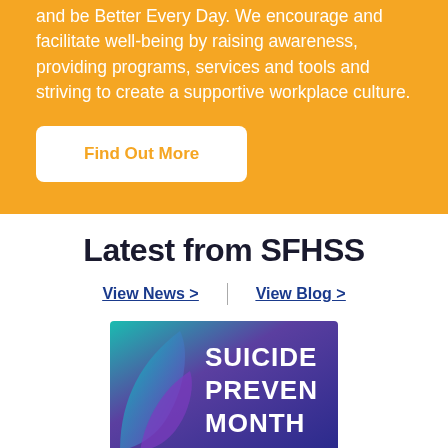and be Better Every Day. We encourage and facilitate well-being by raising awareness, providing programs, services and tools and striving to create a supportive workplace culture.
Find Out More
Latest from SFHSS
View News >
View Blog >
[Figure (photo): Suicide Prevention Month banner image with teal, purple and blue gradient background and bold white text reading SUICIDE PREVENTION MONTH]